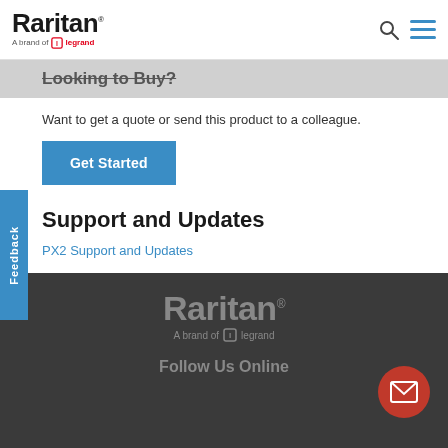Raritan. A brand of legrand
Looking to Buy?
Want to get a quote or send this product to a colleague.
Get Started
Support and Updates
PX2 Support and Updates
Raritan. A brand of legrand. Follow Us Online